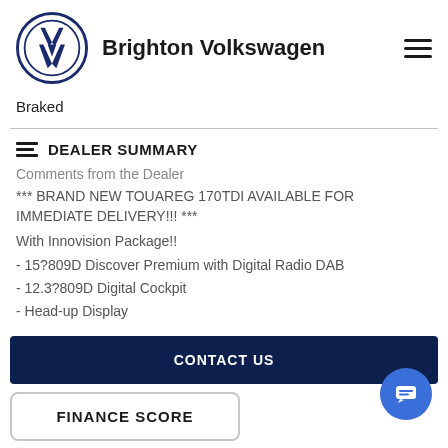[Figure (logo): Brighton Volkswagen logo with VW circular emblem and brand name]
Braked
DEALER SUMMARY
Comments from the Dealer
*** BRAND NEW TOUAREG 170TDI AVAILABLE FOR IMMEDIATE DELIVERY!!! ***
With Innovision Package!!
- 15?809D Discover Premium with Digital Radio DAB
- 12.3?809D Digital Cockpit
- Head-up Display
CONTACT US
FINANCE SCORE